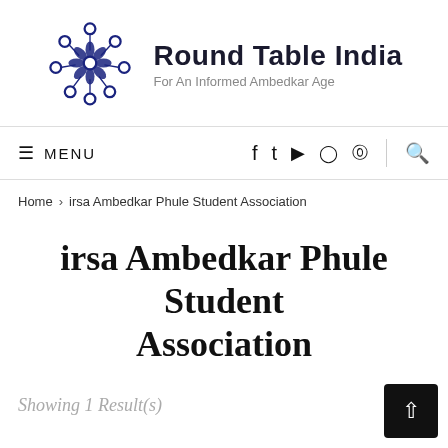[Figure (logo): Round Table India circular logo made of connected circles forming a ring pattern, in dark navy blue]
Round Table India
For An Informed Ambedkar Age
≡ MENU   [social icons: facebook, twitter, youtube, instagram, pinterest]   [search icon]
Home > irsa Ambedkar Phule Student Association
irsa Ambedkar Phule Student Association
Showing 1 Result(s)